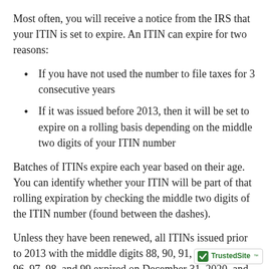Most often, you will receive a notice from the IRS that your ITIN is set to expire. An ITIN can expire for two reasons:
If you have not used the number to file taxes for 3 consecutive years
If it was issued before 2013, then it will be set to expire on a rolling basis depending on the middle two digits of your ITIN number
Batches of ITINs expire each year based on their age. You can identify whether your ITIN will be part of that rolling expiration by checking the middle two digits of the ITIN number (found between the dashes).
Unless they have been renewed, all ITINs issued prior to 2013 with the middle digits 88, 90, 91, 92, 94, 95, 96, 97, 98, and 99 expired on December 31, 2020, and must be renewed: